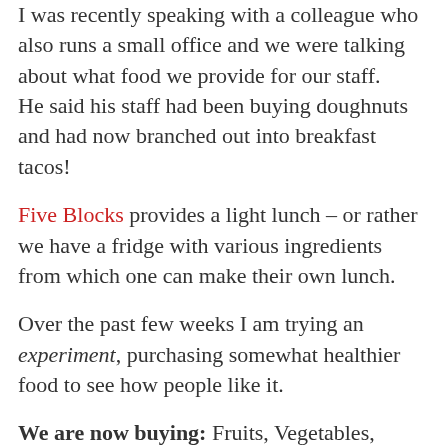I was recently speaking with a colleague who also runs a small office and we were talking about what food we provide for our staff.
He said his staff had been buying doughnuts and had now branched out into breakfast tacos!
Five Blocks provides a light lunch – or rather we have a fridge with various ingredients from which one can make their own lunch.
Over the past few weeks I am trying an experiment, purchasing somewhat healthier food to see how people like it.
We are now buying: Fruits, Vegetables, whole grain bread, tuna fish, frozen fish, low-fat yogurt, peanut butter, humus…
We have long been avoiding: Sugary drinks, Sugar-free drinks (we have a water cooler – so people can make their own tea, lemonade, etc.), pizza, hamburgers,